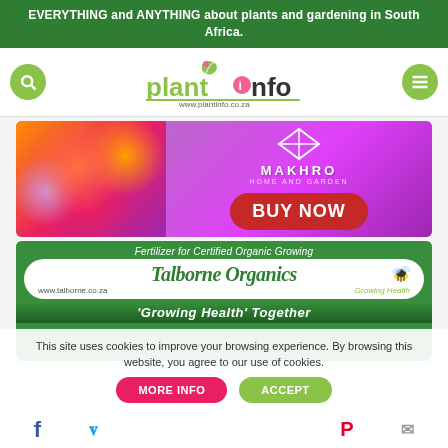EVERYTHING and ANYTHING about plants and gardening in South Africa.
[Figure (logo): PlantInfo logo with green plant icon, pink and dark text, www.plantinfo.co.za URL]
[Figure (photo): Makhro Home and Garden advertisement banner with colorful flowers and BUY NOW button]
[Figure (photo): Talborne Organics advertisement: Fertilizer for Certified Organic Growing, www.talborne.co.za, Growing Health Together]
This site uses cookies to improve your browsing experience. By browsing this website, you agree to our use of cookies.
MORE INFO   ACCEPT